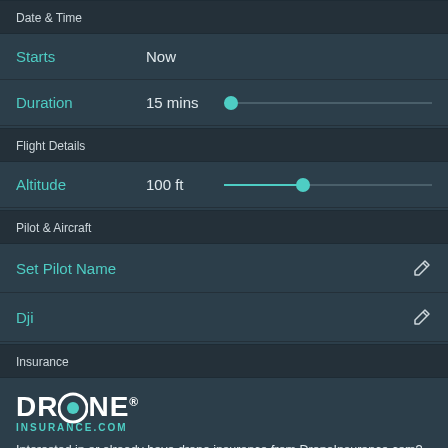Date & Time
Starts   Now
Duration   15 mins
Flight Details
Altitude   100 ft
Pilot & Aircraft
Set Pilot Name
Dji
Insurance
[Figure (logo): DRONE INSURANCE.COM logo with teal accent circle in the letter O]
Interested in or already have drone insurance from DroneInsurance.com? Learn More